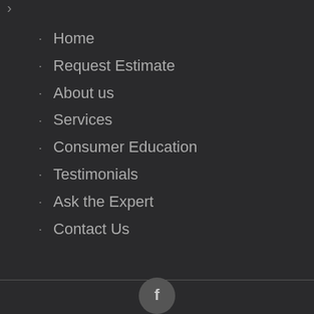Home
Request Estimate
About us
Services
Consumer Education
Testimonials
Ask the Expert
Contact Us